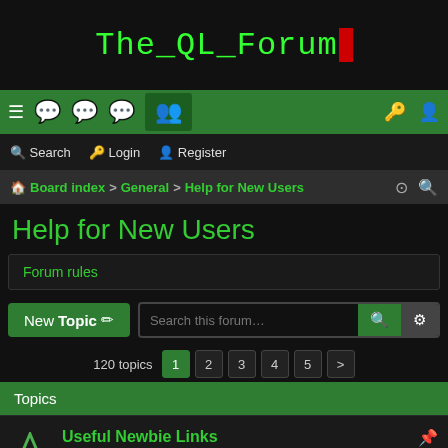The_QL_Forum
[Figure (screenshot): Navigation bar with menu, chat icons, members icon, login and register icons]
Search  Login  Register
Board index > General > Help for New Users
Help for New Users
Forum rules
New Topic  Search this forum...
120 topics  1  2  3  4  5  >
Topics
Useful Newbie Links
Last post by nitrofurano « Wed Feb 02, 2022 1:31 pm
Replies: 9
Ideas for Article Submissions for QUANTA etc.